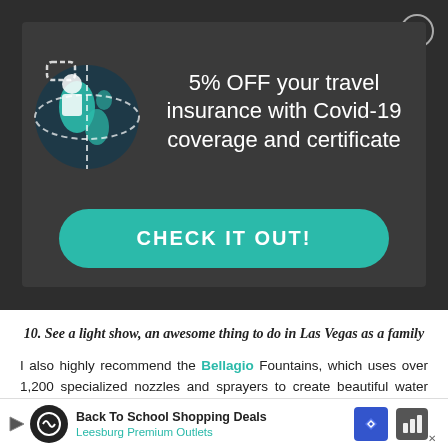[Figure (infographic): Dark modal popup with globe/travel icon on left, white text advertising 5% OFF travel insurance with Covid-19 coverage and certificate, with a teal CHECK IT OUT! button]
10. See a light show, an awesome thing to do in Las Vegas as a family
I also highly recommend the Bellagio Fountains, which uses over 1,200 specialized nozzles and sprayers to create beautiful water displays. It's a w... you can se...
[Figure (infographic): Bottom advertisement bar: Back To School Shopping Deals, Leesburg Premium Outlets, with circular logo icon, blue direction badge, and weather/other icon on right]